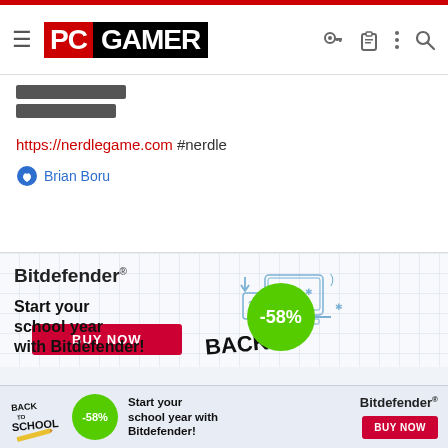PC GAMER
████████
████████
https://nerdlegame.com #nerdle
👍 Brian Boru
[Figure (illustration): Bitdefender Back to School advertisement. Text: Bitdefender. Start your school year with Bitdefender! -58% BUY NOW button.]
[Figure (illustration): Sticky bottom banner ad: Back to School logo, -58% green circle, Start your school year with Bitdefender!, Bitdefender logo, BUY NOW button.]